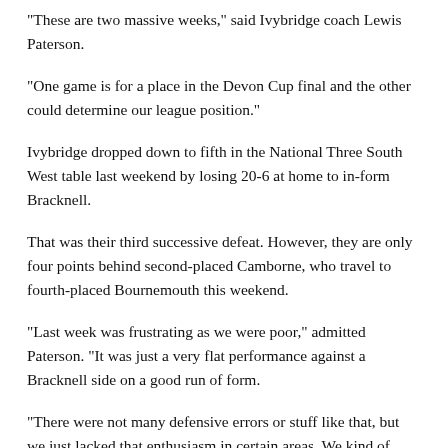“These are two massive weeks,” said Ivybridge coach Lewis Paterson.
“One game is for a place in the Devon Cup final and the other could determine our league position.”
Ivybridge dropped down to fifth in the National Three South West table last weekend by losing 20-6 at home to in-form Bracknell.
That was their third successive defeat. However, they are only four points behind second-placed Camborne, who travel to fourth-placed Bournemouth this weekend.
“Last week was frustrating as we were poor,” admitted Paterson. “It was just a very flat performance against a Bracknell side on a good run of form.
“There were not many defensive errors or stuff like that, but we just lacked that enthusiasm in certain areas. We kind of coasted through